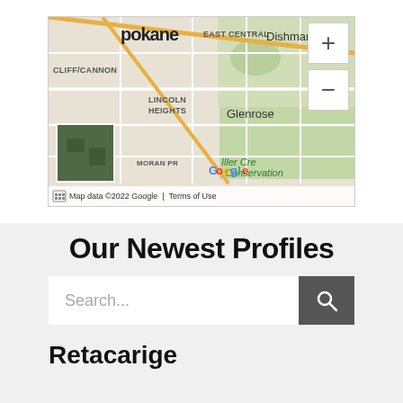[Figure (map): Google Maps view of Spokane area showing neighborhoods: EAST CENTRAL, Dishman, CLIFF/CANNON, LINCOLN HEIGHTS, Glenrose, MORAN PRAIRIE, Iller Creek Conservation. Zoom controls visible. Map data ©2022 Google, Terms of Use.]
Our Newest Profiles
Search...
Retacarige